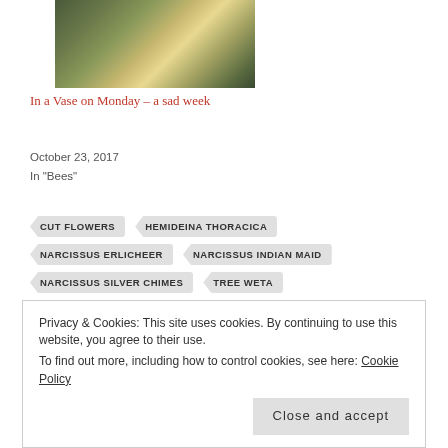[Figure (photo): A floral arrangement photograph showing yellow and mixed flowers against a dark green background]
In a Vase on Monday – a sad week
October 23, 2017
In "Bees"
CUT FLOWERS
HEMIDEINA THORACICA
NARCISSUS ERLICHEER
NARCISSUS INDIAN MAID
NARCISSUS SILVER CHIMES
TREE WETA
Privacy & Cookies: This site uses cookies. By continuing to use this website, you agree to their use.
To find out more, including how to control cookies, see here: Cookie Policy
Close and accept